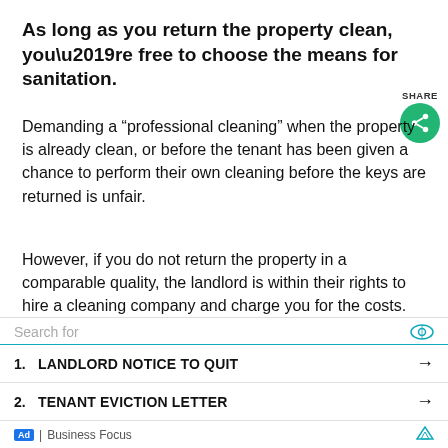As long as you return the property clean, you’re free to choose the means for sanitation.
Demanding a “professional cleaning” when the property is already clean, or before the tenant has been given a chance to perform their own cleaning before the keys are returned is unfair.
However, if you do not return the property in a comparable quality, the landlord is within their rights to hire a cleaning company and charge you for the costs.
If the landlord agrees to have the property professionally cleaned before you move in, it’s fair to do the same before you
[Figure (screenshot): Ad overlay with search bar, two list items (1. LANDLORD NOTICE TO QUIT, 2. TENANT EVICTION LETTER) and Business Focus footer]